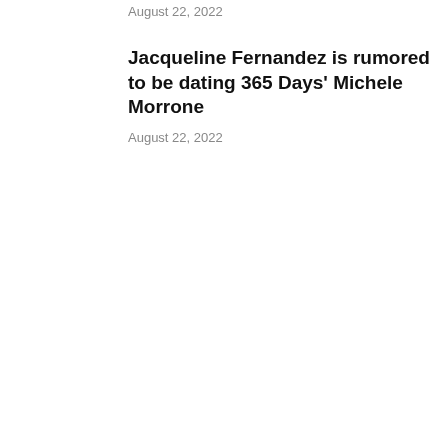August 22, 2022
Jacqueline Fernandez is rumored to be dating 365 Days' Michele Morrone
August 22, 2022